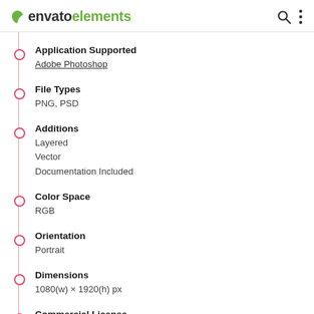envato elements
Application Supported
Adobe Photoshop
File Types
PNG, PSD
Additions
Layered
Vector
Documentation Included
Color Space
RGB
Orientation
Portrait
Dimensions
1080(w) × 1920(h) px
Commercial License